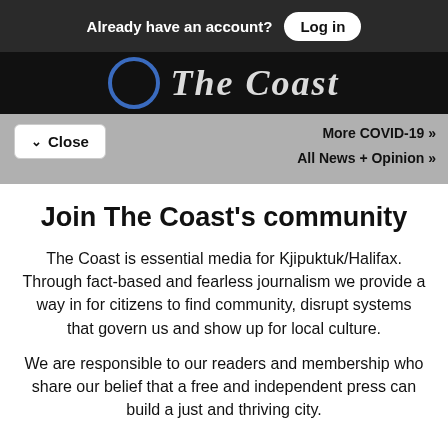Already have an account? Log in
[Figure (logo): The Coast newspaper logo with blue circle icon and italic white text on black background]
More COVID-19 »
All News + Opinion »
✓ Close
Join The Coast's community
The Coast is essential media for Kjipuktuk/Halifax. Through fact-based and fearless journalism we provide a way in for citizens to find community, disrupt systems that govern us and show up for local culture.
We are responsible to our readers and membership who share our belief that a free and independent press can build a just and thriving city.